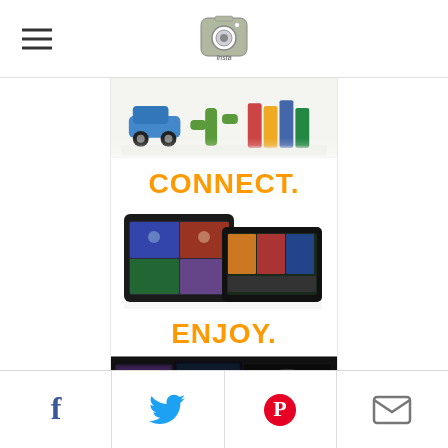[Figure (screenshot): Mobile app top navigation bar with hamburger menu icon on left and Instagram-style camera logo in center]
[Figure (photo): Top portion of Amazon advertisement showing product images (toy car, cactus, books)]
CONNECT.
[Figure (photo): Amazon Kindle Fire tablets showing movie/media content]
ENJOY.
[Figure (photo): Movie covers including Star Trek Into Darkness displayed on dark background]
All from Earth's biggest selection
[Figure (screenshot): Bottom social sharing bar with Facebook, Twitter, Pinterest and email icons]